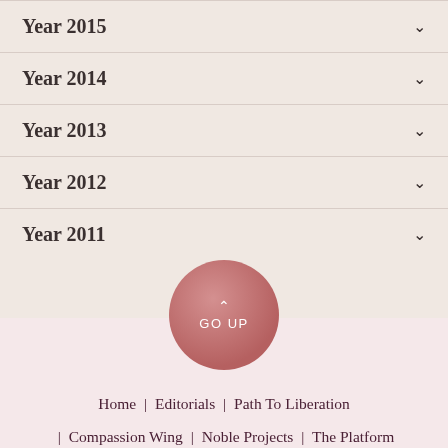Year 2015
Year 2014
Year 2013
Year 2012
Year 2011
[Figure (other): GO UP button - circular pink/rose colored button with upward caret and text GO UP]
Home | Editorials | Path To Liberation | Compassion Wing | Noble Projects | The Platform | Blog | Noble Network
[Figure (logo): Nirvana Dhamma logo with lotus flower and text in Sinhala script]